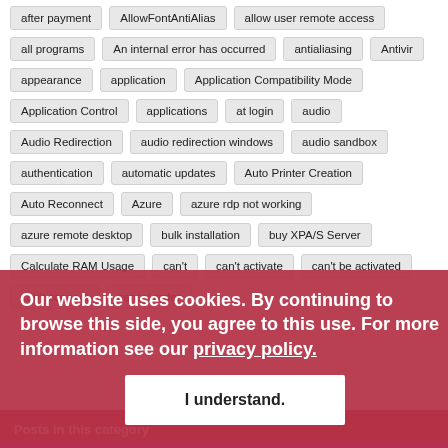after payment
AllowFontAntiAlias
allow user remote access
all programs
An internal error has occurred
antialiasing
Antivir
appearance
application
Application Compatibility Mode
Application Control
applications
at login
audio
Audio Redirection
audio redirection windows
audio sandbox
authentication
automatic updates
Auto Printer Creation
Auto Reconnect
Azure
azure rdp not working
azure remote desktop
bulk installation
buy XPA/S Server
Calculate RAM Usage
can't
can't activate
can't be activated
can't connect
cancel order
Our website uses cookies. By continuing to browse this side, you agree to this use. For more information see our privacy policy.
I understand.
Posts in this category